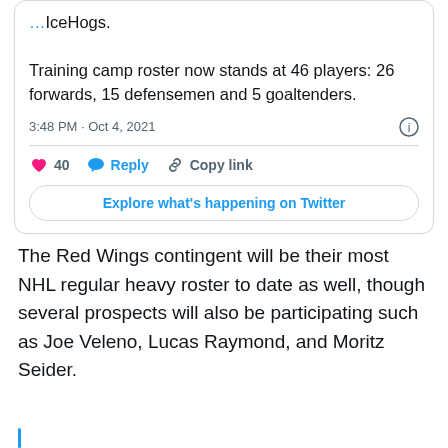IceHogs.
Training camp roster now stands at 46 players: 26 forwards, 15 defensemen and 5 goaltenders.
3:48 PM · Oct 4, 2021
40  Reply  Copy link
Explore what's happening on Twitter
The Red Wings contingent will be their most NHL regular heavy roster to date as well, though several prospects will also be participating such as Joe Veleno, Lucas Raymond, and Moritz Seider.